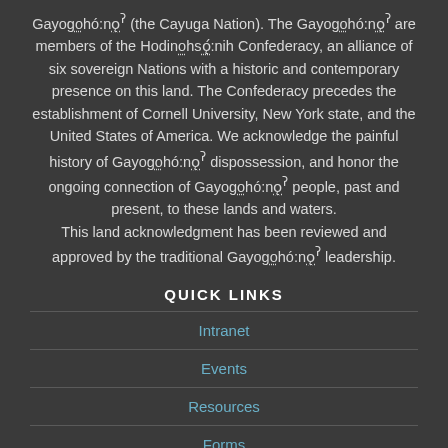Gayogohó:nǫʔ (the Cayuga Nation). The Gayogohó:nǫʔ are members of the Hodinǫhsǫ́:nih Confederacy, an alliance of six sovereign Nations with a historic and contemporary presence on this land. The Confederacy precedes the establishment of Cornell University, New York state, and the United States of America. We acknowledge the painful history of Gayogohó:nǫʔ dispossession, and honor the ongoing connection of Gayogohó:nǫʔ people, past and present, to these lands and waters. This land acknowledgment has been reviewed and approved by the traditional Gayogohó:nǫʔ leadership.
QUICK LINKS
Intranet
Events
Resources
Forms